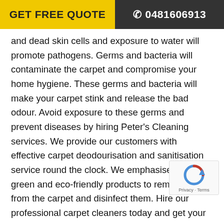GET FREE QUOTE  ☎ 0481606913
and dead skin cells and exposure to water will promote pathogens. Germs and bacteria will contaminate the carpet and compromise your home hygiene. These germs and bacteria will make your carpet stink and release the bad odour. Avoid exposure to these germs and prevent diseases by hiring Peter's Cleaning services. We provide our customers with effective carpet deodourisation and sanitisation service round the clock. We emphasise on using green and eco-friendly products to remove odour from the carpet and disinfect them. Hire our professional carpet cleaners today and get your carpets smelling fresh and germ-free in no time.
Carpet Flood Water Damage